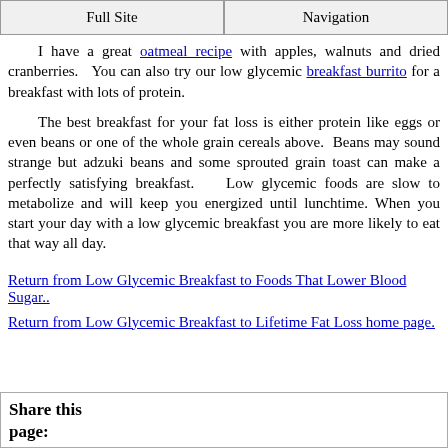Full Site | Navigation
I have a great oatmeal recipe with apples, walnuts and dried cranberries.   You can also try our low glycemic breakfast burrito for a breakfast with lots of protein.
The best breakfast for your fat loss is either protein like eggs or even beans or one of the whole grain cereals above.  Beans may sound strange but adzuki beans and some sprouted grain toast can make a perfectly satisfying breakfast.   Low glycemic foods are slow to metabolize and will keep you energized until lunchtime. When you start your day with a low glycemic breakfast you are more likely to eat that way all day.
Return from Low Glycemic Breakfast to Foods That Lower Blood Sugar..
Return from Low Glycemic Breakfast to Lifetime Fat Loss home page.
Share this page: